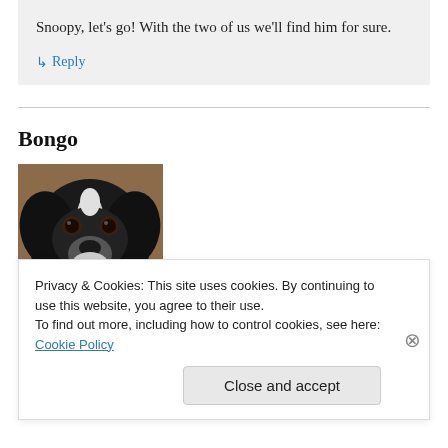Snoopy, let's go! With the two of us we'll find him for sure.
↳ Reply
Bongo
[Figure (photo): Close-up photo of a black and white dog (pointer/hunting breed) with brown eyes, looking at the camera from ground level]
Privacy & Cookies: This site uses cookies. By continuing to use this website, you agree to their use.
To find out more, including how to control cookies, see here: Cookie Policy
Close and accept